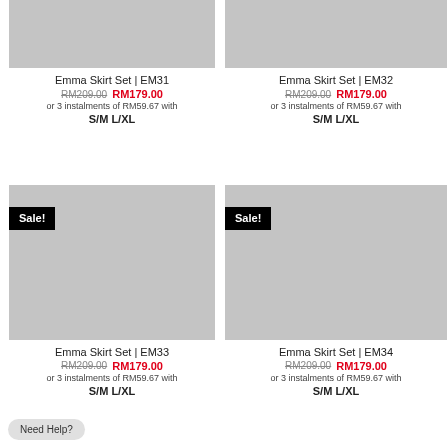[Figure (photo): Product image placeholder for Emma Skirt Set EM31 (top, grey rectangle)]
Emma Skirt Set | EM31
RM209.00 RM179.00
or 3 instalments of RM59.67 with
S/M L/XL
[Figure (photo): Product image placeholder for Emma Skirt Set EM32 (top, grey rectangle)]
Emma Skirt Set | EM32
RM209.00 RM179.00
or 3 instalments of RM59.67 with
S/M L/XL
[Figure (photo): Product image placeholder for Emma Skirt Set EM33 (bottom, grey rectangle with Sale! badge)]
Emma Skirt Set | EM33
RM209.00 RM179.00
or 3 instalments of RM59.67 with
S/M L/XL
[Figure (photo): Product image placeholder for Emma Skirt Set EM34 (bottom, grey rectangle with Sale! badge)]
Emma Skirt Set | EM34
RM209.00 RM179.00
or 3 instalments of RM59.67 with
S/M L/XL
Need Help?